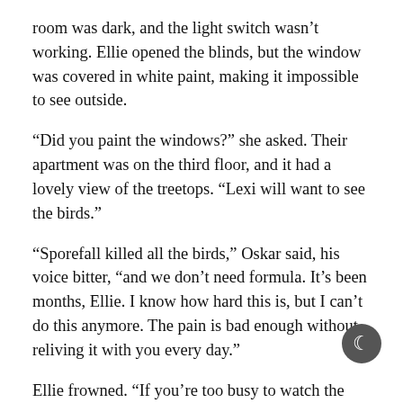room was dark, and the light switch wasn't working. Ellie opened the blinds, but the window was covered in white paint, making it impossible to see outside.
“Did you paint the windows?” she asked. Their apartment was on the third floor, and it had a lovely view of the treetops. “Lexi will want to see the birds.”
“Sporefall killed all the birds,” Oskar said, his voice bitter, “and we don’t need formula. It’s been months, Ellie. I know how hard this is, but I can’t do this anymore. The pain is bad enough without reliving it with you every day.”
Ellie frowned. “If you’re too busy to watch the baby you should say so.”
Oskar leaned down and kissed the top of